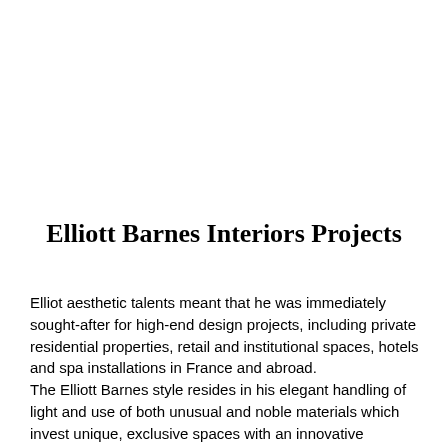Elliott Barnes Interiors Projects
Elliot aesthetic talents meant that he was immediately sought-after for high-end design projects, including private residential properties, retail and institutional spaces, hotels and spa installations in France and abroad.
The Elliott Barnes style resides in his elegant handling of light and use of both unusual and noble materials which invest unique, exclusive spaces with an innovative approach to luxury.